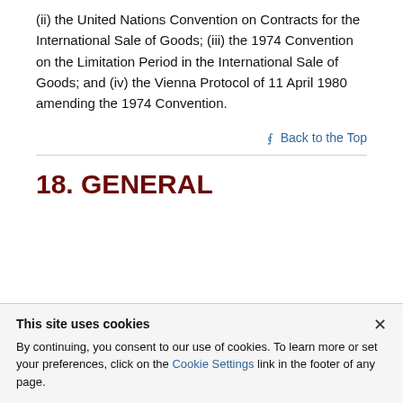(ii) the United Nations Convention on Contracts for the International Sale of Goods; (iii) the 1974 Convention on the Limitation Period in the International Sale of Goods; and (iv) the Vienna Protocol of 11 April 1980 amending the 1974 Convention.
Back to the Top
18. GENERAL
This site uses cookies
By continuing, you consent to our use of cookies. To learn more or set your preferences, click on the Cookie Settings link in the footer of any page.